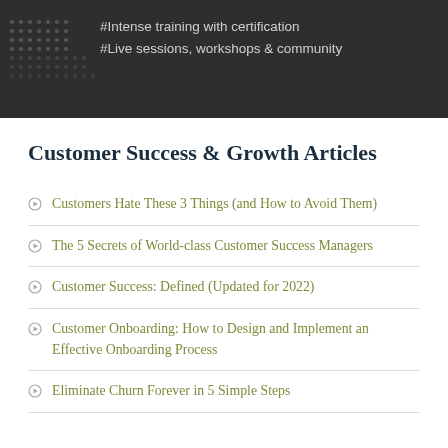[Figure (other): Dark banner with dot pattern on left and two hashtag text lines: #Intense training with certification and #Live sessions, workshops & community]
Customer Success & Growth Articles
Customers Hate These 3 Things (and How to Avoid Them)
The 5 Secrets of World-class Customer Success Managers
Customer Success: Defined (Updated for 2022)
Customer Onboarding: How to Design and Implement an Effective Onboarding Process
Eliminate Churn Forever in 5 Simple Steps